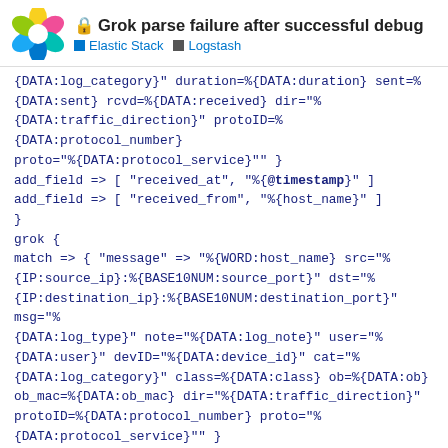Grok parse failure after successful debug | Elastic Stack | Logstash
{DATA:log_category}" duration=%{DATA:duration} sent=%{DATA:sent} rcvd=%{DATA:received} dir="%{DATA:traffic_direction}" protoID=%{DATA:protocol_number} proto="%{DATA:protocol_service}"" }
add_field => [ "received_at", "%{@timestamp}" ]
add_field => [ "received_from", "%{host_name}" ]
}
grok {
match => { "message" => "%{WORD:host_name} src="%{IP:source_ip}:%{BASE10NUM:source_port}" dst="%{IP:destination_ip}:%{BASE10NUM:destination_port}" msg="%{DATA:log_type}" note="%{DATA:log_note}" user="%{DATA:user}" devID="%{DATA:device_id}" cat="%{DATA:log_category}" class=%{DATA:class} ob=%{DATA:ob} ob_mac=%{DATA:ob_mac} dir="%{DATA:traffic_direction}" protoID=%{DATA:protocol_number} proto="%{DATA:protocol_service}"" }
add_field => [ "received_at", "%{@timestamp
add_field => [ "received_from", "%{host_n
3 / 7